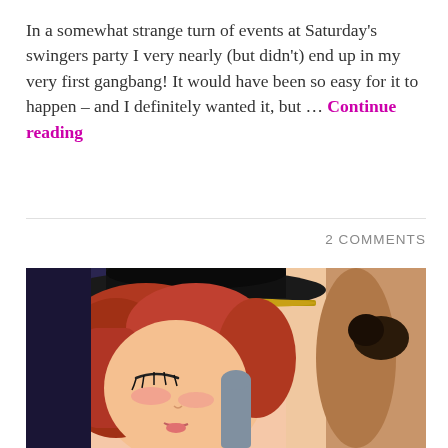In a somewhat strange turn of events at Saturday's swingers party I very nearly (but didn't) end up in my very first gangbang! It would have been so easy for it to happen – and I definitely wanted it, but … Continue reading
2 COMMENTS
[Figure (illustration): Anime-style illustration showing a red-haired female character wearing a dark hat, with closed eyes and blushing cheeks, in an explicit scene.]